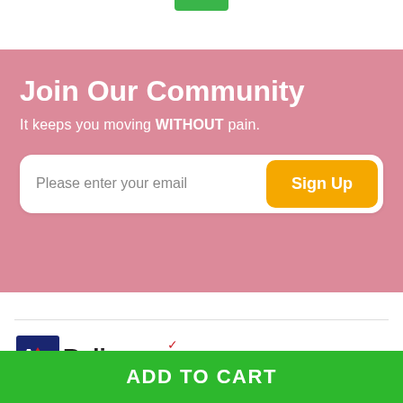[Figure (other): Small green tab/button at top center of page]
Join Our Community
It keeps you moving WITHOUT pain.
Please enter your email
Sign Up
[Figure (logo): AmRelieve logo with stylized 'Am' in navy/red and 'Relieve' in dark text with red accent mark]
ADD TO CART